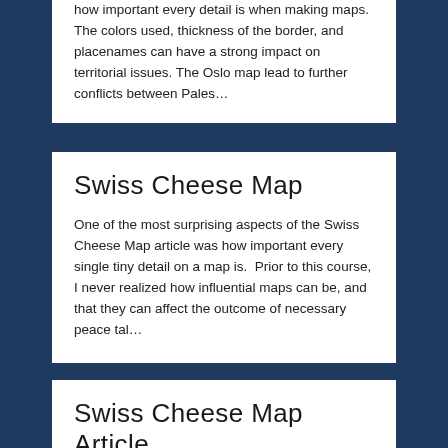how important every detail is when making maps. The colors used, thickness of the border, and placenames can have a strong impact on territorial issues. The Oslo map lead to further conflicts between Pales...
Swiss Cheese Map
One of the most surprising aspects of the Swiss Cheese Map article was how important every single tiny detail on a map is.  Prior to this course, I never realized how influential maps can be, and that they can affect the outcome of necessary peace tal...
Swiss Cheese Map Article